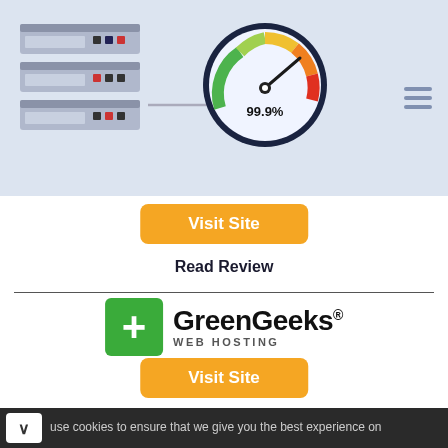[Figure (illustration): Website header banner with server rack illustration on left, speedometer gauge showing 99.9% in center, hamburger menu icon on right, light blue background]
[Figure (other): Orange 'Visit Site' button]
Read Review
[Figure (logo): GreenGeeks Web Hosting logo: green square with white plus sign, followed by GreenGeeks® text and WEB HOSTING subtitle]
[Figure (other): Orange 'Visit Site' button]
Read Review
use cookies to ensure that we give you the best experience on
Affordable Engineering Degree
Civil Engineers Earn $88,570. Pursue a High Paying Career Today! University of DC